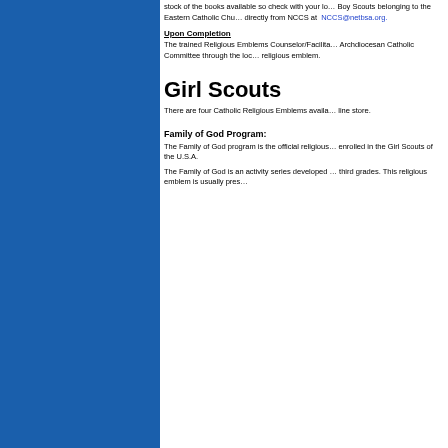stock of the books available so check with your lo… Boy Scouts belonging to the Eastern Catholic Chu… directly from NCCS at NCCS@netbsa.org.
Upon Completion
The trained Religious Emblems Counselor/Facilita… Archdiocesan Catholic Committee through the loc… religious emblem.
Girl Scouts
There are four Catholic Religious Emblems availa… line store.
Family of God Program:
The Family of God program is the official religious… enrolled in the Girl Scouts of the U.S.A.
The Family of God is an activity series developed … third grades. This religious emblem is usually pres…